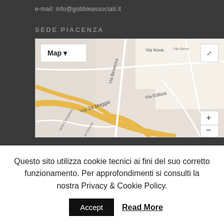e-mail: info@gobbieassociati.it
SEDE PIACENZA
[Figure (map): Street map of Piacenza area showing Via Beverora, Via Nova, Via 24 Maggio, Via Edilizia, with zoom controls and map type selector]
Questo sito utilizza cookie tecnici ai fini del suo corretto funzionamento. Per approfondimenti si consulti la nostra Privacy & Cookie Policy.
Accept
Read More